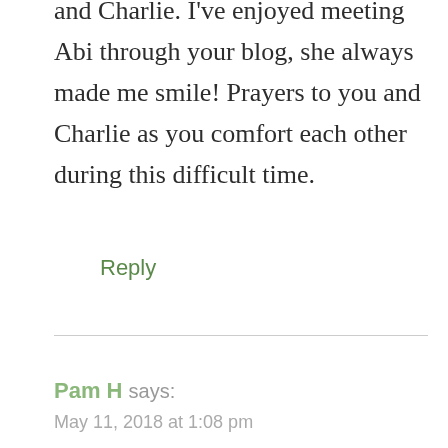and Charlie. I've enjoyed meeting Abi through your blog, she always made me smile! Prayers to you and Charlie as you comfort each other during this difficult time.
Reply
Pam H says:
May 11, 2018 at 1:08 pm